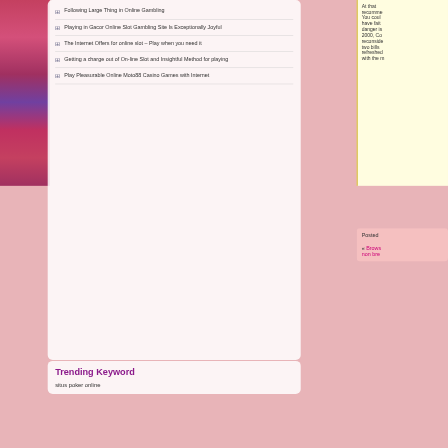Following Large Thing in Online Gambling
Playing in Gacor Online Slot Gambling Site Is Exceptionally Joyful
The Internet Offers for online slot – Play when you need it
Getting a charge out of On-line Slot and Insightful Method for playing
Play Pleasurable Online Moto88 Casino Games with Internet
Trending Keyword
situs poker online
At that recommended. You could have faith danger is 2000, Co reconside two bills refreshed with the m
Posted
« Brows non bre